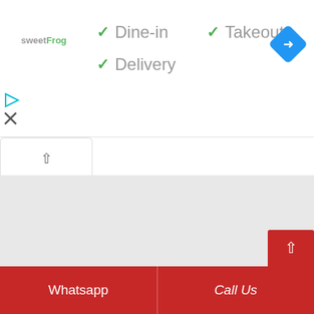[Figure (logo): sweetFrog logo text in grey and green colors]
✓ Dine-in
✓ Takeout
✓ Delivery
[Figure (illustration): Blue diamond-shaped directions/navigation icon with white right-turn arrow]
[Figure (screenshot): Grey map area content region]
Whatsapp
Call Us